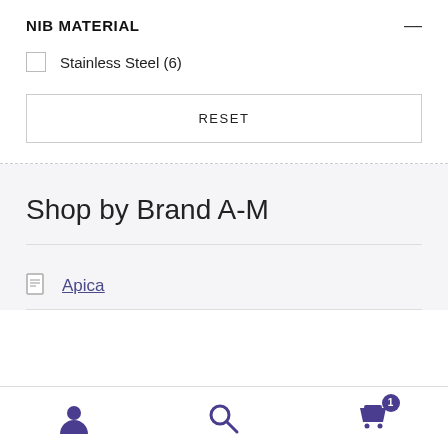NIB MATERIAL
Stainless Steel (6)
RESET
Shop by Brand A-M
Apica
User icon | Search icon | Cart icon with badge 1